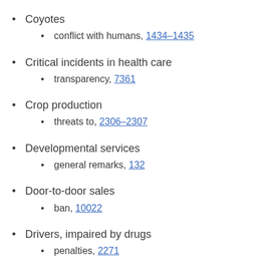Coyotes
conflict with humans, 1434–1435
Critical incidents in health care
transparency, 7361
Crop production
threats to, 2306–2307
Developmental services
general remarks, 132
Door-to-door sales
ban, 10022
Drivers, impaired by drugs
penalties, 2271
Drivers, use of hand-held devices